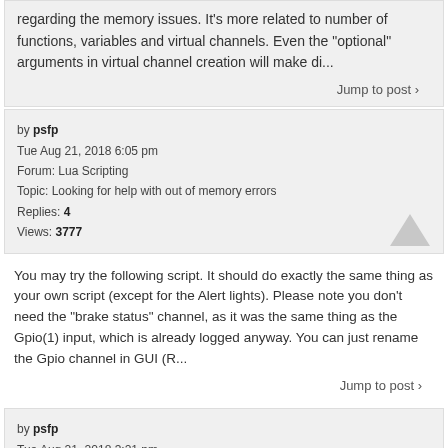regarding the memory issues. It's more related to number of functions, variables and virtual channels. Even the "optional" arguments in virtual channel creation will make di...
Jump to post
by psfp
Tue Aug 21, 2018 6:05 pm
Forum: Lua Scripting
Topic: Looking for help with out of memory errors
Replies: 4
Views: 3777
You may try the following script. It should do exactly the same thing as your own script (except for the Alert lights). Please note you don't need the "brake status" channel, as it was the same thing as the Gpio(1) input, which is already logged anyway. You can just rename the Gpio channel in GUI (R...
Jump to post
by psfp
Tue Aug 21, 2018 3:21 pm
Forum: Lua Scripting